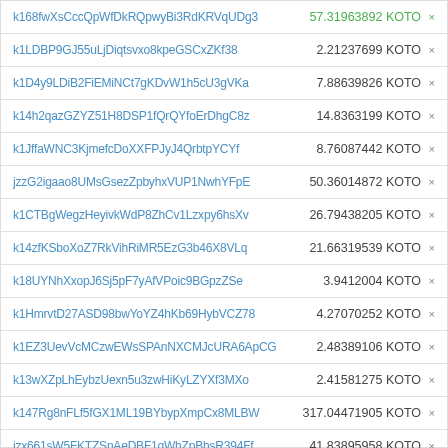| Address | Amount |
| --- | --- |
| k168fwXsCccQpWfDkRQpwyBi3RdKRVqUDg3 | 57.31963892 KOTO × |
| k1LDBP9GJ55uLjDiqtsvxo8kpeGSCxZKf38 | 2.21237699 KOTO × |
| k1D4y9LDiB2FiEMiNCt7gKDvW1h5cU3gVKa | 7.88639826 KOTO × |
| k14h2qazGZYZ51H8DSP1fQrQYfoErDhgC8z | 14.8363199 KOTO × |
| k1JffaWNC3KjmefcDoXXFPJyJ4QrbtpYCYf | 8.76087442 KOTO × |
| jzzG2igaao8UMsGsezZpbyhxVUP1NwhYFpE | 50.36014872 KOTO × |
| k1CTBgWegzHeyivkWdP8ZhCv1Lzxpy6hsXv | 26.79438205 KOTO × |
| k14zfKSboXoZ7RkVihRiMR5EzG3b46X8VLq | 21.66319539 KOTO × |
| k18UYNhXxopJ6Sj5pF7yAfVPoic9BGpzZSe | 3.9412004 KOTO × |
| k1HmrvtD27ASD98bwYoYZ4hKb69HybVCZ78 | 4.27070252 KOTO × |
| k1EZ3UevVcMCzwEWsSPAnNXCMJcURA6ApCG | 2.48389106 KOTO × |
| k13wXZpLhEybzUexn5u3zwHiKyLZYXf3MXo | 2.41581275 KOTO × |
| k147Rg8nFLf5fGX1ML19BYbypXmpCx8MLBW | 317.04471905 KOTO × |
| jzx661sW5FKTZSnAeDBF1qWhZpBhsR394Ff | 41.83895958 KOTO × |